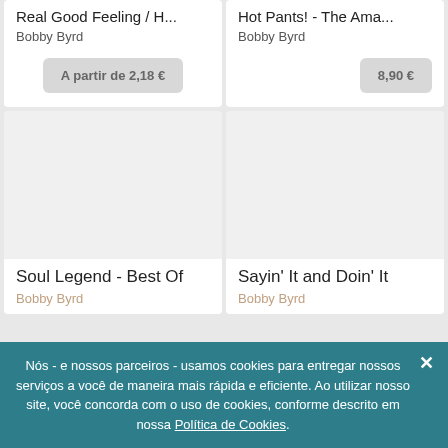Real Good Feeling / H...
Bobby Byrd
A partir de 2,18 €
Hot Pants! - The Ama...
Bobby Byrd
8,90 €
[Figure (photo): Album cover placeholder - blank white/light gray area for Soul Legend - Best Of]
Soul Legend - Best Of
Bobby Byrd
[Figure (photo): Album cover placeholder - blank white/light gray area for Sayin' It and Doin' It]
Sayin' It and Doin' It
Bobby Byrd
Nós - e nossos parceiros - usamos cookies para entregar nossos serviços a você de maneira mais rápida e eficiente. Ao utilizar nosso site, você concorda com o uso de cookies, conforme descrito em nossa Política de Cookies.